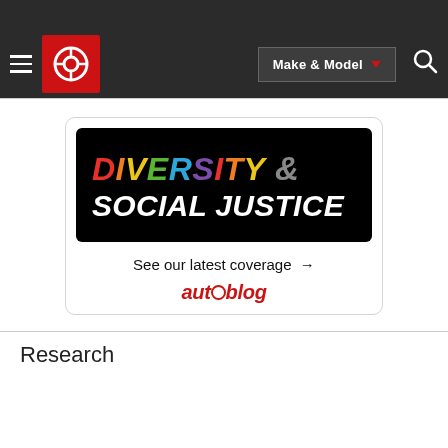Edmunds navigation bar with Make & Model selector
[Figure (infographic): Diversity & Social Justice advertisement card from Autoblog with colorful text on black background and 'See our latest coverage' call-to-action]
Research